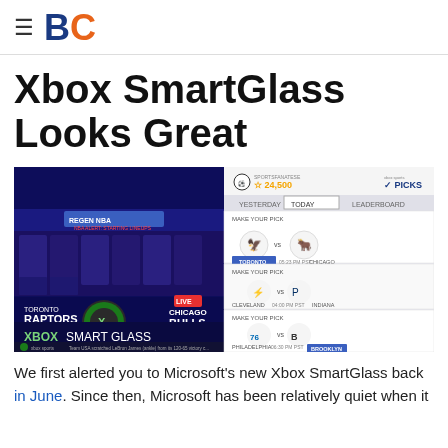BC
Xbox SmartGlass Looks Great
[Figure (screenshot): Xbox SmartGlass app interface showing NBA sports picks screen with Toronto Raptors vs Chicago Bulls game, and a right panel showing multiple 'Make Your Pick' options for various NBA matchups including Toronto vs Chicago, Cleveland vs Indiana, Philadelphia vs Brooklyn.]
We first alerted you to Microsoft's new Xbox SmartGlass back in June. Since then, Microsoft has been relatively quiet when it